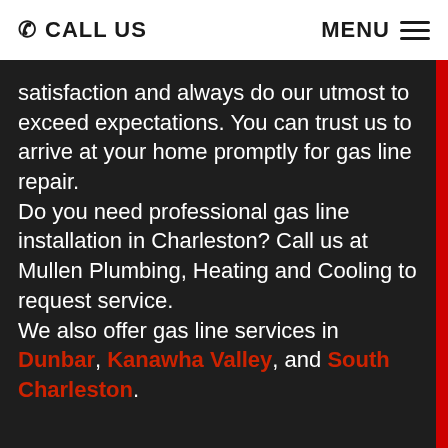CALL US   MENU
satisfaction and always do our utmost to exceed expectations. You can trust us to arrive at your home promptly for gas line repair.
Do you need professional gas line installation in Charleston? Call us at Mullen Plumbing, Heating and Cooling to request service.
We also offer gas line services in Dunbar, Kanawha Valley, and South Charleston.